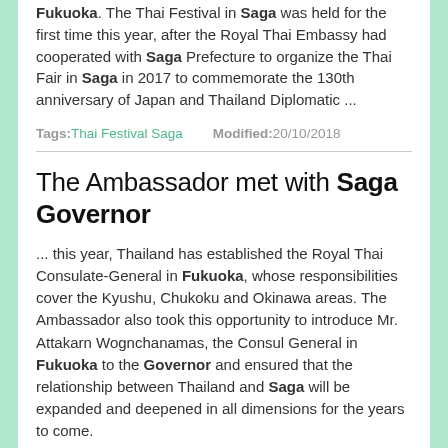Fukuoka. The Thai Festival in Saga was held for the first time this year, after the Royal Thai Embassy had cooperated with Saga Prefecture to organize the Thai Fair in Saga in 2017 to commemorate the 130th anniversary of Japan and Thailand Diplomatic ...
Tags: Thai Festival Saga    Modified: 20/10/2018
The Ambassador met with Saga Governor
... this year, Thailand has established the Royal Thai Consulate-General in Fukuoka, whose responsibilities cover the Kyushu, Chukoku and Okinawa areas. The Ambassador also took this opportunity to introduce Mr. Attakarn Wognchanamas, the Consul General in Fukuoka to the Governor and ensured that the relationship between Thailand and Saga will be expanded and deepened in all dimensions for the years to come.